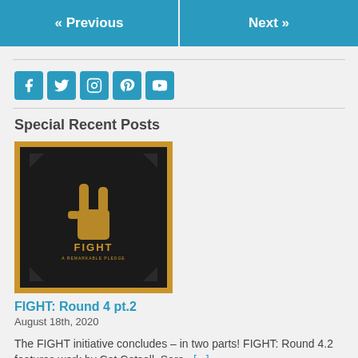« Previous   Next »
[Figure (other): Social media icons: Facebook, Twitter, Instagram, Pinterest, YouTube]
Special Recent Posts
[Figure (illustration): FIGHT: Round 4 pt.2 thumbnail — dark background with golden rock hand gesture and FIGHT logo text]
FIGHT: Round 4 pt.2
August 18th, 2020
The FIGHT initiative concludes – in two parts! FIGHT: Round 4.2 features work by Cat Cotsell, Sara  [...]
[Figure (illustration): Second post thumbnail (partially visible) — dark border with gold background]